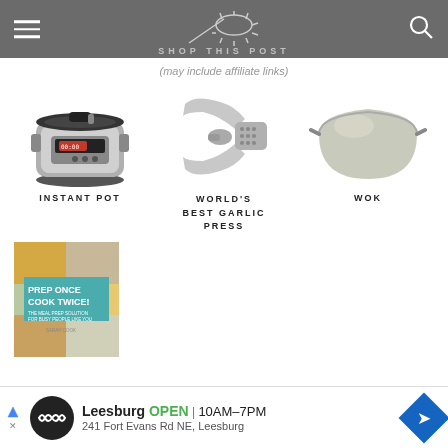SHOP THIS POST
(may include affiliate links)
[Figure (photo): Instant Pot electric pressure cooker, stainless steel with black lid and digital display]
INSTANT POT
[Figure (photo): World's Best Garlic Press, metallic silver garlic press tool]
WORLD'S BEST GARLIC PRESS
[Figure (photo): Wok pan, light gray/sage green non-stick wok]
WOK
[Figure (photo): Book cover: Prep Once Cook Twice by Sarah Cook - The Meal Prep Solution for Busy People Like You, with food photos on cover and teal title area]
[Figure (other): Advertisement banner: Leesburg OPEN 10AM-7PM, 241 Fort Evans Rd NE, Leesburg with Infinity insurance logo and navigation arrow icon]